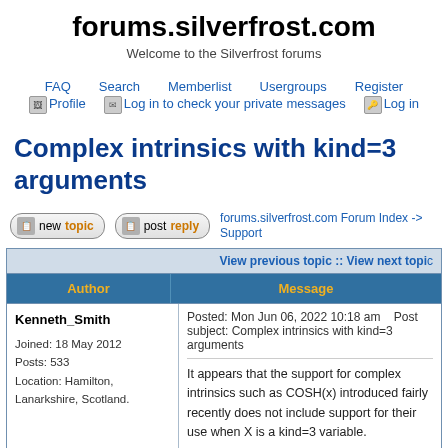forums.silverfrost.com
Welcome to the Silverfrost forums
FAQ  Search  Memberlist  Usergroups  Register
Profile  Log in to check your private messages  Log in
Complex intrinsics with kind=3 arguments
new topic  post reply  forums.silverfrost.com Forum Index -> Support
| Author | Message |
| --- | --- |
| Kenneth_Smith

Joined: 18 May 2012
Posts: 533
Location: Hamilton, Lanarkshire, Scotland. | Posted: Mon Jun 06, 2022 10:18 am    Post subject: Complex intrinsics with kind=3 arguments

It appears that the support for complex intrinsics such as COSH(x) introduced fairly recently does not include support for their use when X is a kind=3 variable. |